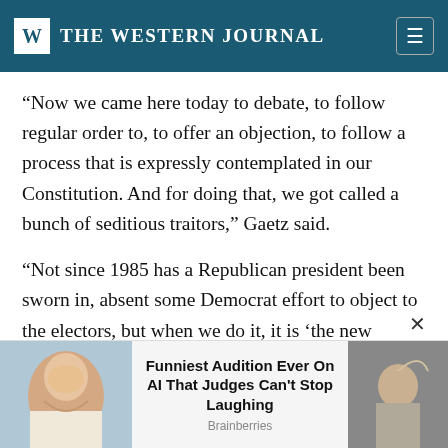THE WESTERN JOURNAL
“Now we came here today to debate, to follow regular order to, to offer an objection, to follow a process that is expressly contemplated in our Constitution. And for doing that, we got called a bunch of seditious traitors,” Gaetz said.
“Not since 1985 has a Republican president been sworn in, absent some Democrat effort to object to the electors, but when we do it, it is ‘the new violation o’
[Figure (photo): Woman laughing with hand over face]
Funniest Audition Ever On AI That Judges Can't Stop Laughing
Brainberries
[Figure (photo): Person raising arm, bald person]